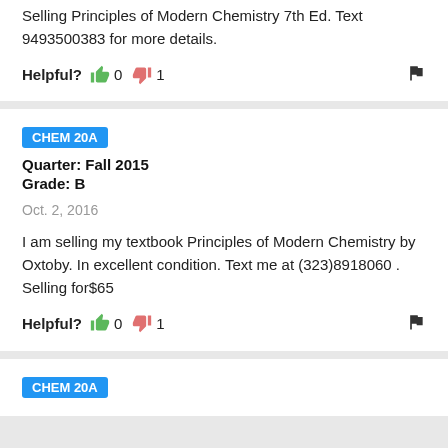Selling Principles of Modern Chemistry 7th Ed. Text 9493500383 for more details.
Helpful? 0 1
CHEM 20A
Quarter: Fall 2015
Grade: B
Oct. 2, 2016
I am selling my textbook Principles of Modern Chemistry by Oxtoby. In excellent condition. Text me at (323)8918060 . Selling for$65
Helpful? 0 1
CHEM 20A